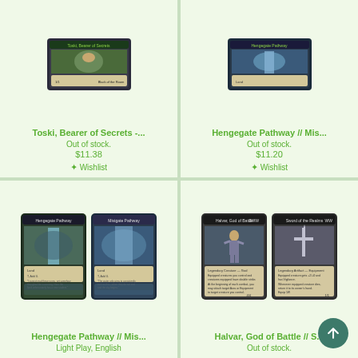[Figure (photo): Magic: The Gathering card image for Toski, Bearer of Secrets]
Toski, Bearer of Secrets -...
Out of stock.
$11.38
+ Wishlist
[Figure (photo): Magic: The Gathering card image for Hengegate Pathway // Mis...]
Hengegate Pathway // Mis...
Out of stock.
$11.20
+ Wishlist
[Figure (photo): Magic: The Gathering double-faced card image for Hengegate Pathway // Mis...]
Hengegate Pathway // Mis...
Light Play, English
[Figure (photo): Magic: The Gathering double-faced card image for Halvar, God of Battle // S...]
Halvar, God of Battle // S...
Out of stock.